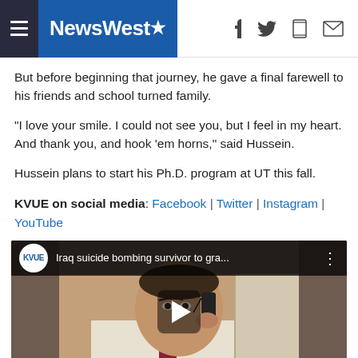NewsWest9
But before beginning that journey, he gave a final farewell to his friends and school turned family.
"I love your smile. I could not see you, but I feel in my heart. And thank you, and hook 'em horns," said Hussein.
Hussein plans to start his Ph.D. program at UT this fall.
KVUE on social media: Facebook | Twitter | Instagram | YouTube
[Figure (screenshot): KVUE YouTube video thumbnail showing a man in a white shirt and tie holding a phone to his ear. Video title reads 'Iraq suicide bombing survivor to gra...']